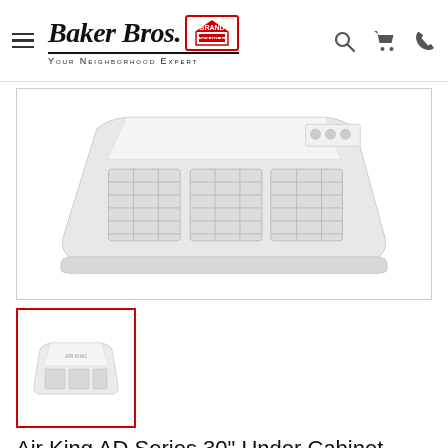Baker Bros. Brand Source — Your Neighborhood Expert
[Figure (photo): Large product image of a white under-cabinet range hood (Air King AD Series), viewed from below/front at an angle, on a white background inside a bordered box.]
[Figure (photo): Thumbnail image of the same white under-cabinet range hood, smaller view, inside a red-bordered box.]
Air King AD Series 30" Under Cabinet